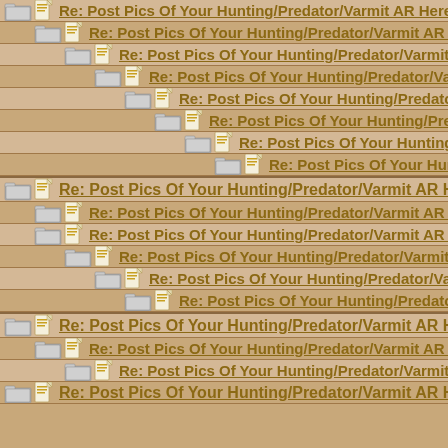Re: Post Pics Of Your Hunting/Predator/Varmit AR Here !!
Re: Post Pics Of Your Hunting/Predator/Varmit AR Here !!
Re: Post Pics Of Your Hunting/Predator/Varmit AR Here !!
Re: Post Pics Of Your Hunting/Predator/Varmit AR Here
Re: Post Pics Of Your Hunting/Predator/Varmit AR He
Re: Post Pics Of Your Hunting/Predator/Varmit AR H
Re: Post Pics Of Your Hunting/Predator/Varmit AR
Re: Post Pics Of Your Hunting/Predator/Varmit
Re: Post Pics Of Your Hunting/Predator/Varmit AR Here !!
Re: Post Pics Of Your Hunting/Predator/Varmit AR Here !!
Re: Post Pics Of Your Hunting/Predator/Varmit AR Here !!
Re: Post Pics Of Your Hunting/Predator/Varmit AR Here !!
Re: Post Pics Of Your Hunting/Predator/Varmit AR Here
Re: Post Pics Of Your Hunting/Predator/Varmit AR He
Re: Post Pics Of Your Hunting/Predator/Varmit AR Here !!
Re: Post Pics Of Your Hunting/Predator/Varmit AR Here !!
Re: Post Pics Of Your Hunting/Predator/Varmit AR Here !!
Re: Post Pics Of Your Hunting/Predator/Varmit AR Here !!